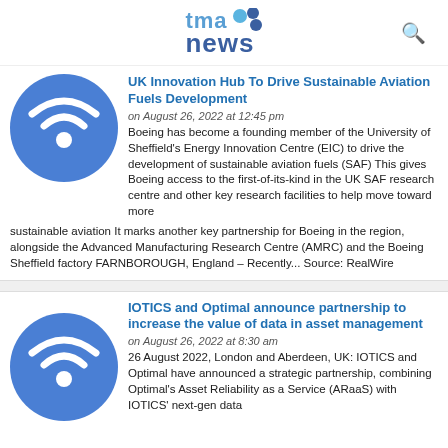tma news
[Figure (logo): Blue wifi/signal icon circle for article thumbnail]
UK Innovation Hub To Drive Sustainable Aviation Fuels Development
on August 26, 2022 at 12:45 pm
Boeing has become a founding member of the University of Sheffield's Energy Innovation Centre (EIC) to drive the development of sustainable aviation fuels (SAF) This gives Boeing access to the first-of-its-kind in the UK SAF research centre and other key research facilities to help move toward more sustainable aviation It marks another key partnership for Boeing in the region, alongside the Advanced Manufacturing Research Centre (AMRC) and the Boeing Sheffield factory FARNBOROUGH, England – Recently... Source: RealWire
[Figure (logo): Blue wifi/signal icon circle for second article thumbnail]
IOTICS and Optimal announce partnership to increase the value of data in asset management
on August 26, 2022 at 8:30 am
26 August 2022, London and Aberdeen, UK: IOTICS and Optimal have announced a strategic partnership, combining Optimal's Asset Reliability as a Service (ARaaS) with IOTICS' next-gen data